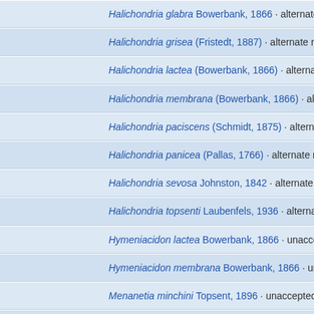Halichondria glabra Bowerbank, 1866 · alternate representation
Halichondria grisea (Fristedt, 1887) · alternate representation (ju
Halichondria lactea (Bowerbank, 1866) · alternate representation
Halichondria membrana (Bowerbank, 1866) · alternate represent
Halichondria paciscens (Schmidt, 1875) · alternate representatio
Halichondria panicea (Pallas, 1766) · alternate representation (su
Halichondria sevosa Johnston, 1842 · alternate representation (j
Halichondria topsenti Laubenfels, 1936 · alternate representation
Hymeniacidon lactea Bowerbank, 1866 · unaccepted (genus tra
Hymeniacidon membrana Bowerbank, 1866 · unaccepted (genus
Menanetia minchini Topsent, 1896 · unaccepted (genus transfer
Spongia panicea Pallas, 1766 · unaccepted (genus transfer)